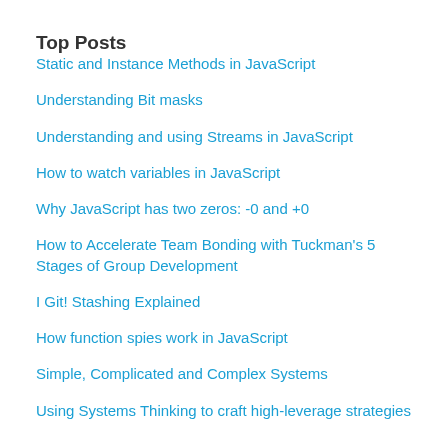Top Posts
Static and Instance Methods in JavaScript
Understanding Bit masks
Understanding and using Streams in JavaScript
How to watch variables in JavaScript
Why JavaScript has two zeros: -0 and +0
How to Accelerate Team Bonding with Tuckman's 5 Stages of Group Development
I Git! Stashing Explained
How function spies work in JavaScript
Simple, Complicated and Complex Systems
Using Systems Thinking to craft high-leverage strategies